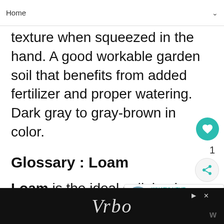Home
texture when squeezed in the hand. A good workable garden soil that benefits from added fertilizer and proper watering. Dark gray to gray-brown in color.
Glossary : Loam
Loam is the ideal soil, having the perfect balance between particle size, air space, organic matter and water holding capacity. forms a nice ball when squeezed in the palm of the hand, but crumbles easily when tapped with a finger. Rich color ranges be...
Vrbo [advertisement]